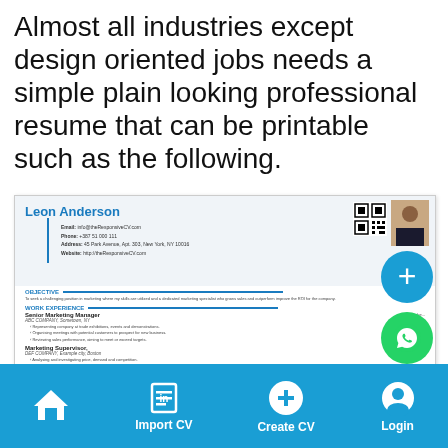Almost all industries except design oriented jobs needs a simple plain looking professional resume that can be printable such as the following.
[Figure (screenshot): Screenshot of a professional resume template for 'Leon Anderson' showing contact info, objective, work experience sections, with a QR code and photo. Blue + and green WhatsApp floating action buttons overlay the right side.]
Home | Import CV | Create CV | Login